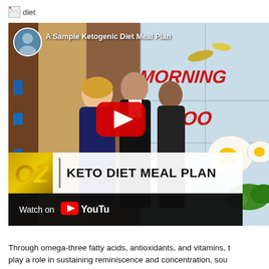[Figure (other): Broken image icon with alt text 'diet']
[Figure (screenshot): YouTube video thumbnail for 'A Sample Ketogenic Diet Meal Plan' featuring Dr. Oz on a TV show set with a display board showing MORNING and NOON sections, people standing, food images, red play button overlay, OZ logo bar reading 'KETO DIET MEAL PLAN', and 'Watch on YouTube' bar at bottom]
Through omega-three fatty acids, antioxidants, and vitamins, t
play a role in sustaining reminiscence and concentration, sou